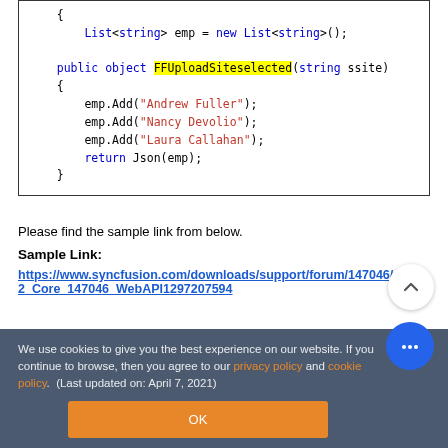[Figure (screenshot): Code block showing C# code with List<string>, FFUploadSiteselected method, emp.Add calls with string values Andrew Fuller, Nancy Devolio, Laura Callahan, and return Json(emp).]
Please find the sample link from below.
Sample Link:
https://www.syncfusion.com/downloads/support/forum/147046/ze/EJ2_Core_147046_WebAPI1297207594
We use cookies to give you the best experience on our website. If you continue to browse, then you agree to our privacy policy and cookie policy. (Last updated on: April 7, 2021)